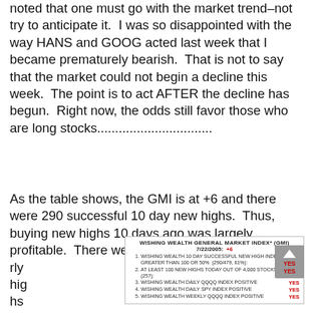noted that one must go with the market trend–not try to anticipate it.  I was so disappointed with the way HANS and GOOG acted last week that I became prematurely bearish.  That is not to say that the market could not begin a decline this week.  The point is to act AFTER the decline has begun.  Right now, the odds still favor those who are long stocks................................
As the table shows, the GMI is at +6 and there were 290 successful 10 day new highs.  Thus, buying new highs 10 days ago was largely profitable.  There were also 257 yea rly hig hs
| # | Description | Result |
| --- | --- | --- |
| 1. | WISHING WEALTH 10 DAY SUCCESSFUL NEW HIGH INDEX GREATER THAN 100 or 50%  (290/479, 61%): | YES |
| 2. | AT LEAST 100 NEW HIGHS TODAY OUT OF 4,000 STOCKS  (257): | YES |
| 3. | WISHING WEALTH DAILY QQQQ INDEX POSITIVE | YES |
| 4. | WISHING WEALTH DAILY SPY INDEX POSITIVE | YES |
| 5. | WISHING WEALTH WEEKLY QQQQ INDEX POSITIVE | YES |